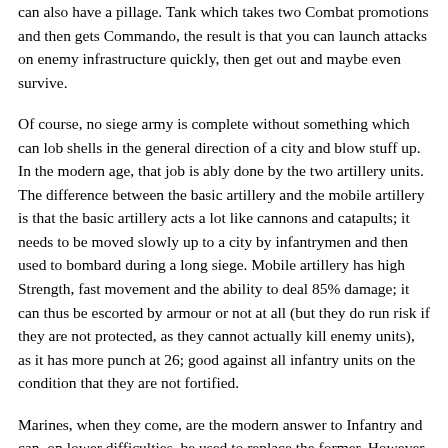can also have a pillage. Tank which takes two Combat promotions and then gets Commando, the result is that you can launch attacks on enemy infrastructure quickly, then get out and maybe even survive.
Of course, no siege army is complete without something which can lob shells in the general direction of a city and blow stuff up. In the modern age, that job is ably done by the two artillery units. The difference between the basic artillery and the mobile artillery is that the basic artillery acts a lot like cannons and catapults; it needs to be moved slowly up to a city by infantrymen and then used to bombard during a long siege. Mobile artillery has high Strength, fast movement and the ability to deal 85% damage; it can thus be escorted by armour or not at all (but they do run risk if they are not protected, as they cannot actually kill enemy units), as it has more punch at 26; good against all infantry units on the condition that they are not fortified.
Marines, when they come, are the modern answer to Infantry and can, on lower difficulties, be used to replace the former. However,